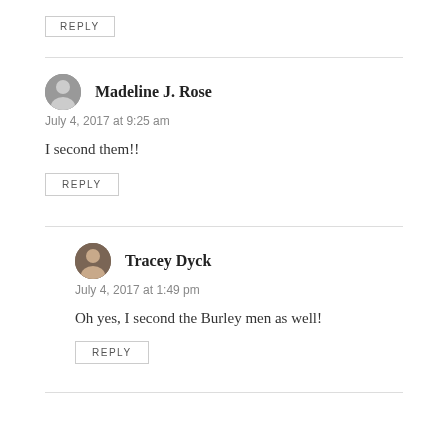REPLY
Madeline J. Rose
July 4, 2017 at 9:25 am
I second them!!
REPLY
Tracey Dyck
July 4, 2017 at 1:49 pm
Oh yes, I second the Burley men as well!
REPLY